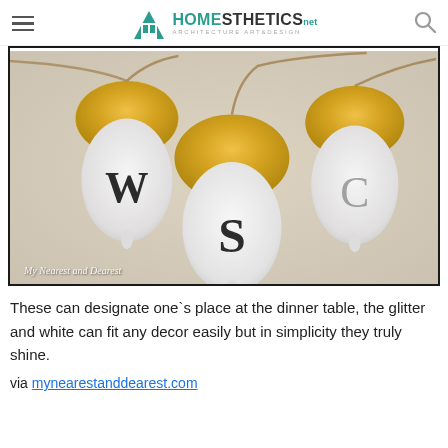HOMESTHETICS — Architecture Art&Design
[Figure (photo): Three white acorns with gold glitter caps, each monogrammed with a letter (W, S, C) in black serif font, strung on jute twine. Watermark reads 'My Nearest and Dearest'.]
These can designate one`s place at the dinner table, the glitter and white can fit any decor easily but in simplicity they truly shine.
via mynearestanddearest.com